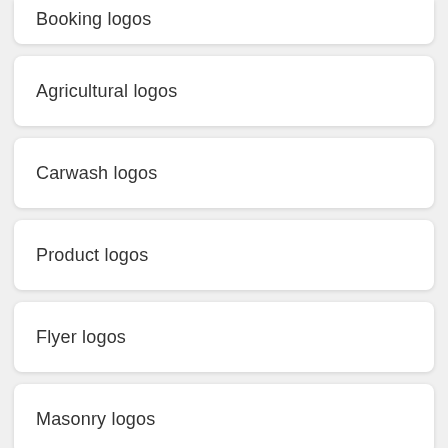Booking logos
Agricultural logos
Carwash logos
Product logos
Flyer logos
Masonry logos
Tree logos